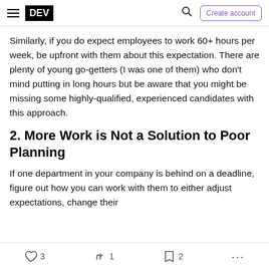DEV | Create account
Similarly, if you do expect employees to work 60+ hours per week, be upfront with them about this expectation. There are plenty of young go-getters (I was one of them) who don't mind putting in long hours but be aware that you might be missing some highly-qualified, experienced candidates with this approach.
2. More Work is Not a Solution to Poor Planning
If one department in your company is behind on a deadline, figure out how you can work with them to either adjust expectations, change their
3  1  2  ...